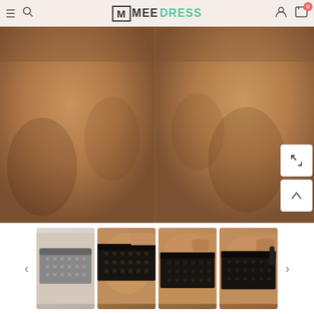[Figure (screenshot): E-commerce website screenshot showing MeeDress store header with navigation icons (hamburger menu, search, logo, user, cart with 0 badge), a main product image showing legs wearing lace shorts (two-panel view), side action buttons (rotate and scroll up), and a thumbnail strip at the bottom with 4 product thumbnails showing lace shorts in gray and black colorways, with left/right navigation arrows.]